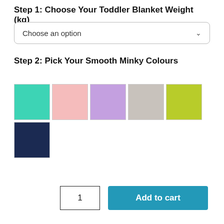Step 1: Choose Your Toddler Blanket Weight (kg)
Choose an option
Step 2: Pick Your Smooth Minky Colours
[Figure (illustration): Six color swatches arranged in two rows: teal, pink, lavender, gray, lime green (top row), and navy blue (bottom row left). Each swatch is a solid colored square with a light border.]
1
Add to cart